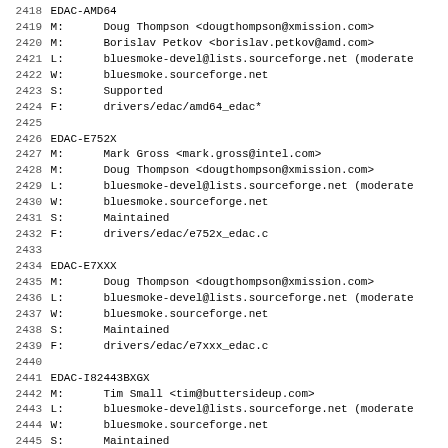2418 EDAC-AMD64
2419 M:      Doug Thompson <dougthompson@xmission.com>
2420 M:      Borislav Petkov <borislav.petkov@amd.com>
2421 L:      bluesmoke-devel@lists.sourceforge.net (moderate
2422 W:      bluesmoke.sourceforge.net
2423 S:      Supported
2424 F:      drivers/edac/amd64_edac*
2425
2426 EDAC-E752X
2427 M:      Mark Gross <mark.gross@intel.com>
2428 M:      Doug Thompson <dougthompson@xmission.com>
2429 L:      bluesmoke-devel@lists.sourceforge.net (moderate
2430 W:      bluesmoke.sourceforge.net
2431 S:      Maintained
2432 F:      drivers/edac/e752x_edac.c
2433
2434 EDAC-E7XXX
2435 M:      Doug Thompson <dougthompson@xmission.com>
2436 L:      bluesmoke-devel@lists.sourceforge.net (moderate
2437 W:      bluesmoke.sourceforge.net
2438 S:      Maintained
2439 F:      drivers/edac/e7xxx_edac.c
2440
2441 EDAC-I82443BXGX
2442 M:      Tim Small <tim@buttersideup.com>
2443 L:      bluesmoke-devel@lists.sourceforge.net (moderate
2444 W:      bluesmoke.sourceforge.net
2445 S:      Maintained
2446 F:      drivers/edac/i82443bxgx_edac.c
2447
2448 EDAC-I3000
2449 M:      Jason Uhlenkott <juhlenko@akamai.com>
2450 L:      bluesmoke-devel@lists.sourceforge.net (moderate